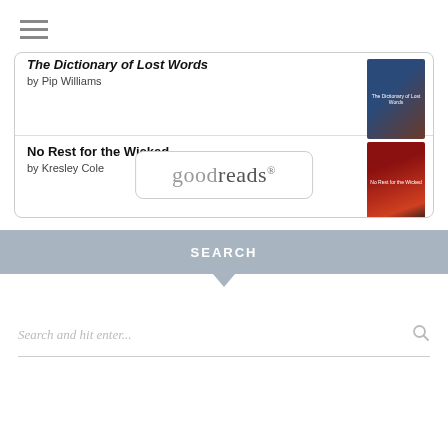[Figure (screenshot): Hamburger menu icon (three horizontal lines)]
The Dictionary of Lost Words by Pip Williams
[Figure (photo): Book cover for The Dictionary of Lost Words by Pip Williams]
No Rest for the Wicked by Kresley Cole
[Figure (photo): Book cover for No Rest for the Wicked by Kresley Cole]
[Figure (logo): Goodreads logo]
SEARCH
Search and hit enter...